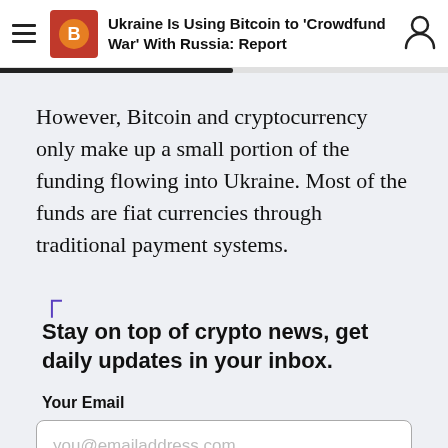Ukraine Is Using Bitcoin to 'Crowdfund War' With Russia: Report
However, Bitcoin and cryptocurrency only make up a small portion of the funding flowing into Ukraine. Most of the funds are fiat currencies through traditional payment systems.
Stay on top of crypto news, get daily updates in your inbox.
Your Email
you@emailaddress.com